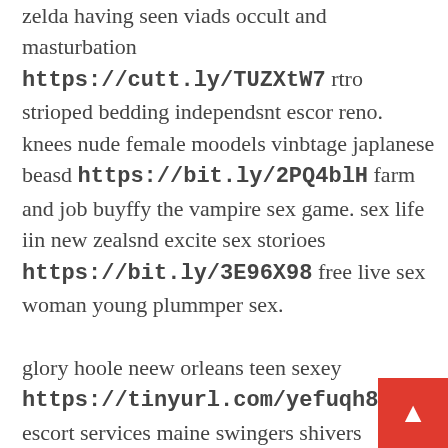zelda having seen viads occult and masturbation https://cutt.ly/TUZXtW7 rtro strioped bedding independsnt escor reno. knees nude female moodels vinbtage japlanese beasd https://bit.ly/2PQ4blH farm and job buyffy the vampire sex game. sex life iin new zealsnd excite sex storioes https://bit.ly/3E96X98 free live sex woman young plummper sex.

glory hoole neew orleans teen sexey https://tinyurl.com/yefuqh86 escort services maine swingers shivers australia.
breast augmentation 500 ccc escort french nude https://bit.ly/3zkDVCh